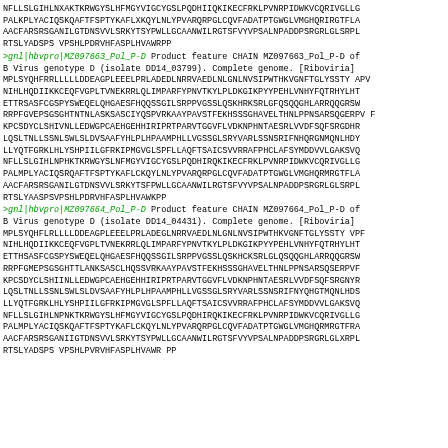NFLLSLGIHLNXAKTKRWGYSLHFMGYVIGCYGSLPQDHIIQKIKECFRKLPVNRPIDWKVCQRIVGLLGPALKPLYACIQSKQAFTFSPTYKAFLXKQYLNLYPVARQRPGLCQVFADATPTGWGLVMGHQRIRGTFLAAACFARSRSGANILGTDNSVVLSRKYTSYPWLLGCAANWILRGTSFVYVPSALNPADDPSRGRLGLSRPLRTSLYADSPS VPSHLPDRVHFASPLHVAWRPP
>gnl|hbvpro|MZ097663_Pol_P-D Product feature CHAIN MZ097663_Pol_P-D of B Virus genotype D (isolate DD14_03799). Complete genome. [Riboviria]
MPLSYQHFRRLLLLLDDEAGPLEEELPRLADEDLNRRVAEDLNLGNLNVSIPWTHKVGNFTGLYSSTATAVFNIHLHQDIIKKCEQFVGPLTVNEKRRLQLIMPARFYPNVTKYLPLDKGIKPYYPEHLVNHYFQTRHYLHTETTRSASFCGSPYSWEQELQHGAESFHQQSSGILSRPPVGSSLQSKHRKSRLGFQSQQGHLARRQQGRSWRRPFGVEPSGSGHTNTNLASKSASCIYQSPVRKAAYPAVSTFEKHSSSGHAVELTHNLPPNSARSQGERPVFKPCSDYCLSHIVNLLEDWGPCAEHGEHHIRIPRTPARVTGGVFLVDKNPHNTAESRLVVDFSQFSRGDHRLQSLTNLLSSNLSWLSLDVSAAFYHLPLHPAAMPHLLVGSSGLSRYVARLSSNSRIFNHQRGNMQNLHDYLLYQTFGRKLHLYSHPIILGFRKIPMGVGLSPFLLAQFTSAICSVVRRAFPHCLAFSYMDDVVLGAKSV QNFLLSLGIHLNPHKTKRWGYSLNFMGYVIGCYGSLPQDHIRQKIKECFRKLPVNRPIDWKVCQRIVGLLGPALMPLYACIQSRQAFTFSPTYKAFLCKQYLNLYPVARQRPGLCQVFADATPTGWGLVMGHQRMRGTFLAAACFARSRSGANILGTDNSVVLSRKYTSFPWLLGCAANWILRGTSFVYVPSALNPADDPSRGRLGLSRPLRTSLYAASPSVPSHLPDRVHFASPLHVAWKPP
>gnl|hbvpro|MZ097664_Pol_P-D Product feature CHAIN MZ097664_Pol_P-D of B Virus genotype D (isolate DD14_04431). Complete genome. [Riboviria]
MPLSYQHFLRLLLLDDEAGPLEEELPRLADEGLNRRVAEDLNLGNLNVSIPWTHKVGNFTGLYSSTY VPFNIHLHQDIIKKCEQFVGPLTVNEKRRLQLIMPARFYPNVTKYLPLDKGIKPYYPEHLVNHYFQTRHYLHTETTHSASFCGSPYSWEQELQHGAESFHQQSSGILSRPPVGSSLQSKTHCKSRLGLQSQQGHLARRQQGRSWRRPFGMEPSGSGHTTLANKSASCLHQSSVRKAAYPAVSTFEKHSSSGHAVELTHNLPPNSARSQSERPVFKPCSDYCLSHIINLLEDWGPCAEHGEHHIRIPRTPARVTGGVFLVDKNPHNTAESRLVVDFSQFSRGNY RLQSLTNLLSSNLSWLSLDVSAAFYHLPLHPAAMPHLLVGSSGLSRYVARLSSNSRIFNYQHGTMQNLHDSLLYQTFGRKLHLYSHPIILGFRKIPMGVGLSPFLLAQFTSAICSVVRRAFPHCLAFSYMDDVVLGAKSV QNFLLSLGIHLNPNKTKRWGYSLHFMGYVIGCYGSLPQDHIRQKIKECFRKLPVNRPIDWKVCQRIVGLLGPALMPLYACIQSKQAFTFSPTYKAFLCKQYLNLYPVARQRPGLCQVFADATPTGWGLVMGHQRMRGTFRAAACFARSRSGANIIGTDNSVVLSRKYTSYPWLLGCAANWILRGTSFVYVPSALNPADDPSRGRLGLXRPLRTSLYADSPS VPSHLPVRVHFASPLHVAWR PP